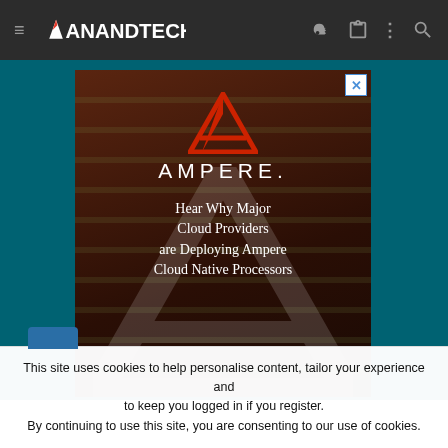AnandTech navigation bar
[Figure (screenshot): Ampere advertisement banner showing Ampere logo and text 'Hear Why Major Cloud Providers are Deploying Ampere Cloud Native Processors' on a dark server rack background]
This site uses cookies to help personalise content, tailor your experience and to keep you logged in if you register. By continuing to use this site, you are consenting to our use of cookies.